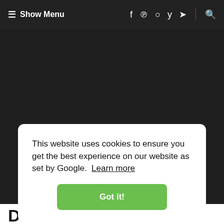≡ Show Menu   f  p  ○  ʏ  ➤  |  🔍
This website uses cookies to ensure you get the best experience on our website as set by Google.  Learn more
Got it!
Devotional